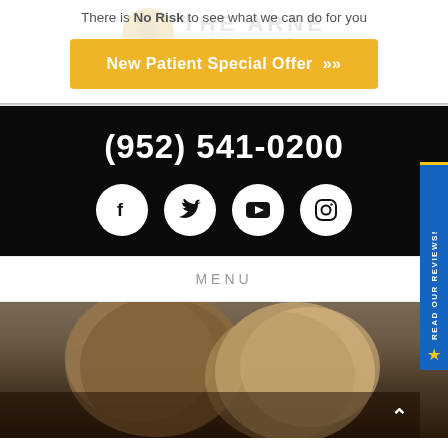There is No Risk to see what we can do for you
[Figure (other): Yellow button with text 'New Patient Special Offer >>' on The Arne Clinic website]
(952) 541-0200
[Figure (other): Social media icons: Facebook, Twitter, YouTube, Instagram in white circles on black background]
MENU
[Figure (photo): Two women with hair down, blurred background, chiropractic clinic webpage]
READ OUR REVIEWS!